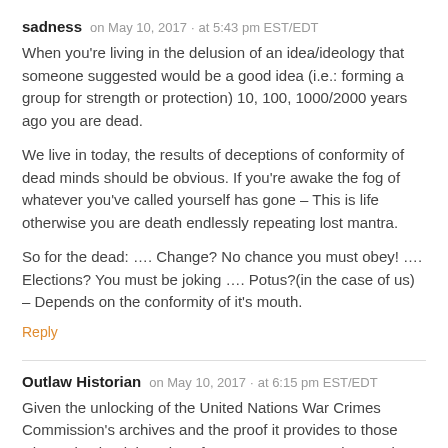sadness   on May 10, 2017  ·  at 5:43 pm EST/EDT
When you're living in the delusion of an idea/ideology that someone suggested would be a good idea (i.e.: forming a group for strength or protection) 10, 100, 1000/2000 years ago you are dead.
We live in today, the results of deceptions of conformity of dead minds should be obvious. If you're awake the fog of whatever you've called yourself has gone – This is life otherwise you are death endlessly repeating lost mantra.
So for the dead: …. Change? No chance you must obey! …. Elections? You must be joking …. Potus?(in the case of us) – Depends on the conformity of it's mouth.
Reply
Outlaw Historian   on May 10, 2017  ·  at 6:15 pm EST/EDT
Given the unlocking of the United Nations War Crimes Commission's archives and the proof it provides to those who maintained the cries of Appeasement were just a Big Lie to cover